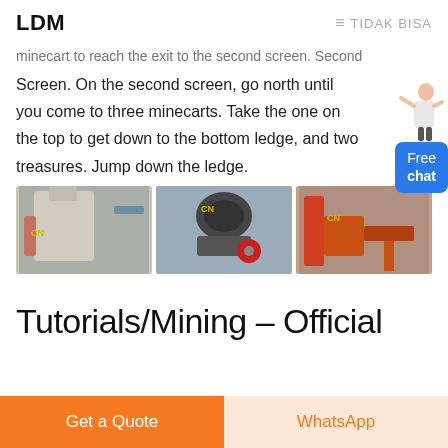LDM  ≡ TIDAK BISA
minecart to reach the exit to the second screen. Second Screen. On the second screen, go north until you come to three minecarts. Take the one on the top to get down to the bottom ledge, and two treasures. Jump down the ledge.
[Figure (photo): Three photos of industrial mining/crushing machinery. Left: a large vertical mill machine outdoors with CN label. Center: a cone crusher machine indoors with CN label and red wheel. Right: an orange/red industrial equipment structure outdoors with CN label.]
Tutorials/Mining – Official
Get a Quote
WhatsApp